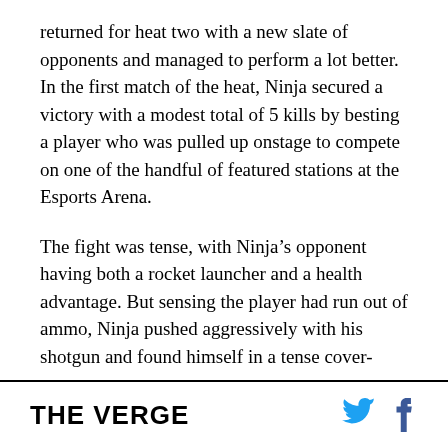returned for heat two with a new slate of opponents and managed to perform a lot better. In the first match of the heat, Ninja secured a victory with a modest total of 5 kills by besting a player who was pulled up onstage to compete on one of the handful of featured stations at the Esports Arena.
The fight was tense, with Ninja’s opponent having both a rocket launcher and a health advantage. But sensing the player had run out of ammo, Ninja pushed aggressively with his shotgun and found himself in a tense cover-building battle that ended with well-placed shotgun blast to his opponent’s most vulnerable area, winning Ninja the match and
THE VERGE